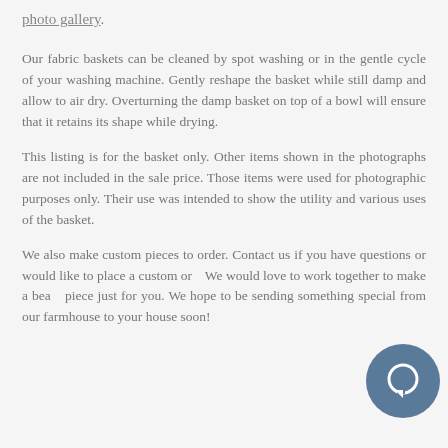photo gallery.
Our fabric baskets can be cleaned by spot washing or in the gentle cycle of your washing machine. Gently reshape the basket while still damp and allow to air dry. Overturning the damp basket on top of a bowl will ensure that it retains its shape while drying.
This listing is for the basket only. Other items shown in the photographs are not included in the sale price. Those items were used for photographic purposes only. Their use was intended to show the utility and various uses of the basket.
We also make custom pieces to order. Contact us if you have questions or would like to place a custom or... We would love to work together to make a bea... piece just for you. We hope to be sending something special from our farmhouse to your house soon!